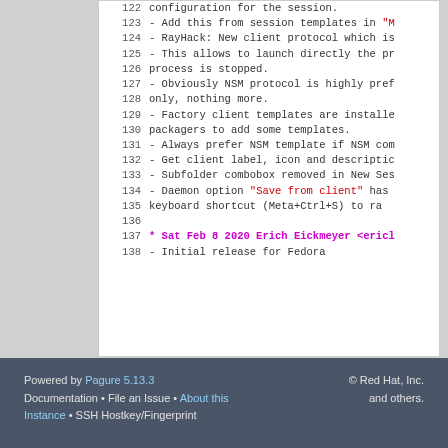[Figure (screenshot): Code/changelog viewer showing lines 122-138 of a changelog file with line numbers, including text about session configuration, RayHack protocol, NSM protocol, factory client templates, and a release entry dated Sat Feb 8 2020 by Erich Eickmeyer for Fedora. Some text is highlighted in red or magenta.]
Powered by Pagure 5.13.3 Documentation • File an Issue • About this Instance • SSH Hostkey/Fingerprint © Red Hat, Inc. and others.